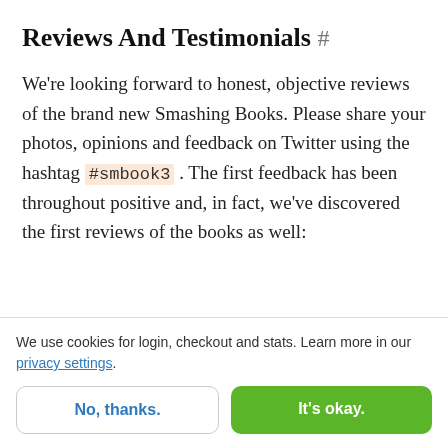Reviews And Testimonials #
We're looking forward to honest, objective reviews of the brand new Smashing Books. Please share your photos, opinions and feedback on Twitter using the hashtag #smbook3 . The first feedback has been throughout positive and, in fact, we've discovered the first reviews of the books as well:
We use cookies for login, checkout and stats. Learn more in our privacy settings.
No, thanks.
It's okay.